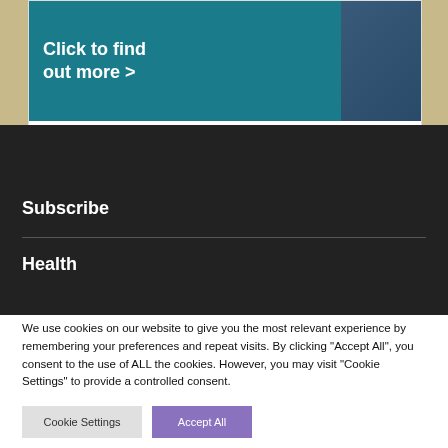[Figure (photo): Teal banner with white bold text 'Click to find out more >' and a person in a blue jacket on the right side]
Subscribe
Health
We use cookies on our website to give you the most relevant experience by remembering your preferences and repeat visits. By clicking "Accept All", you consent to the use of ALL the cookies. However, you may visit "Cookie Settings" to provide a controlled consent.